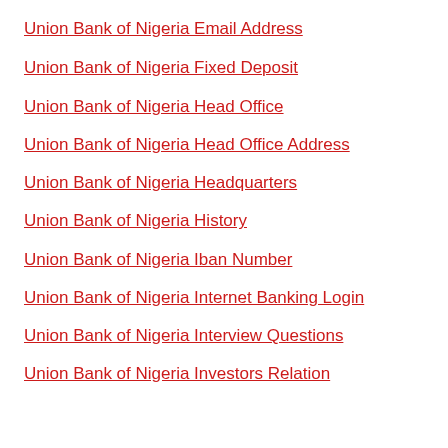Union Bank of Nigeria Email Address
Union Bank of Nigeria Fixed Deposit
Union Bank of Nigeria Head Office
Union Bank of Nigeria Head Office Address
Union Bank of Nigeria Headquarters
Union Bank of Nigeria History
Union Bank of Nigeria Iban Number
Union Bank of Nigeria Internet Banking Login
Union Bank of Nigeria Interview Questions
Union Bank of Nigeria Investors Relation